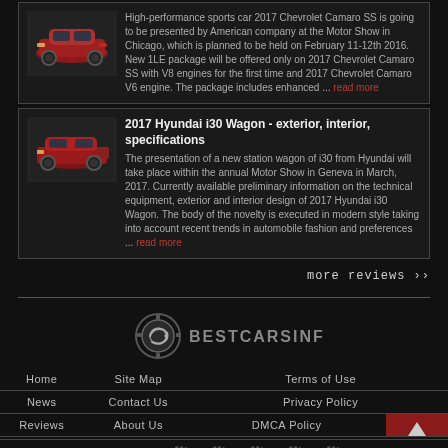[Figure (photo): Red Chevrolet Camaro SS car image thumbnail]
High-performance sports car 2017 Chevrolet Camaro SS is going to be presented by American company at the Motor Show in Chicago, which is planned to be held on February 11-12th 2016. New 1LE package will be offered only on 2017 Chevrolet Camaro SS with V8 engines for the first time and 2017 Chevrolet Camaro V6 engine. The package includes enhanced ... read more
[Figure (photo): Red Hyundai i30 Wagon car image thumbnail]
2017 Hyundai i30 Wagon - exterior, interior, specifications
The presentation of a new station wagon of i30 from Hyundai will take place within the annual Motor Show in Geneva in March, 2017. Currently available preliminary information on the technical equipment, exterior and interior design of 2017 Hyundai i30 Wagon. The body of the novelty is executed in modern style taking into account recent trends in automobile fashion and preferences ... read more
more reviews >>
[Figure (logo): BestCarsInfo logo with circular gear icon]
Home | Site Map | Terms of Use | News | Contact Us | Privacy Policy | Reviews | About Us | DMCA Policy
Follow Us: [Facebook, Pinterest, Twitter, Google+, other social icons]